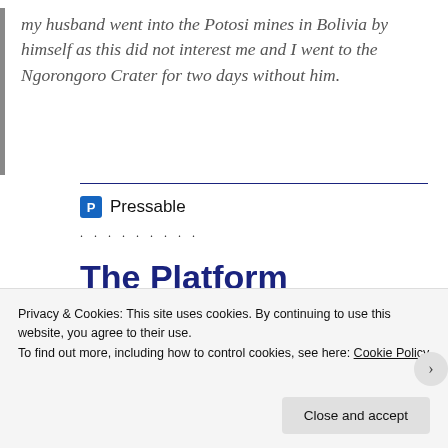my husband went into the Potosi mines in Bolivia by himself as this did not interest me and I went to the Ngorongoro Crater for two days without him.
[Figure (logo): Pressable logo with blue 'P' icon and name]
The Platform Where WordPress Works Best
Privacy & Cookies: This site uses cookies. By continuing to use this website, you agree to their use. To find out more, including how to control cookies, see here: Cookie Policy
Close and accept